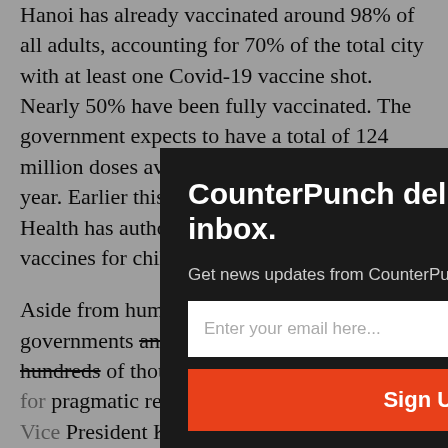Hanoi has already vaccinated around 98% of all adults, accounting for 70% of the total city with at least one Covid-19 vaccine shot. Nearly 50% have been fully vaccinated. The government expects to have a total of 124 million doses available by the end of this year. Earlier this month, the Ministry of Health has authorized the use of COVID-19 vaccines for children aged 12 to 17.
Aside from humanitarian reasons, foreign governments and companies have donated hundreds of thousands of vaccines to Vietnam for pragmatic reasons as well. During US Vice President Kamala Harris' August visit to Vietnam was an opportunity to meet with Vietnamese officials. The 1 million vaccines the US donated had promised.
Another self-i... that Vietnam's...
[Figure (screenshot): Email subscription modal popup with dark background: title 'CounterPunch delivered to your inbox.', subtitle 'Get news updates from CounterPunch', email input field with placeholder 'Enter your email here...', and orange 'Sign Up' button. Close button (×) in top-right corner.]